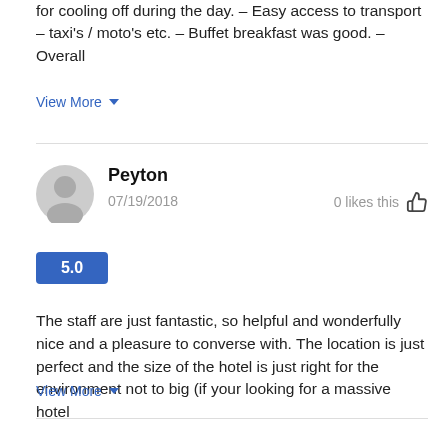for cooling off during the day. – Easy access to transport – taxi's / moto's etc. – Buffet breakfast was good. – Overall
View More
Peyton
07/19/2018
0 likes this
5.0
The staff are just fantastic, so helpful and wonderfully nice and a pleasure to converse with. The location is just perfect and the size of the hotel is just right for the environment not to big (if your looking for a massive hotel
View More